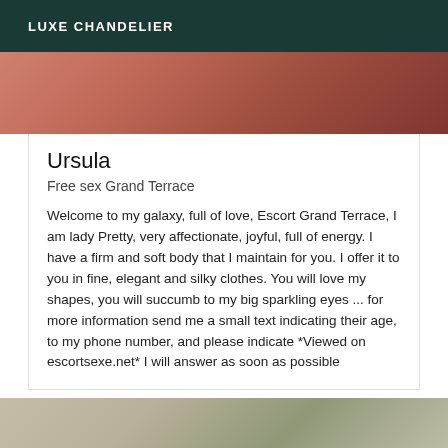LUXE CHANDELIER
[Figure (photo): Close-up photo with warm reddish/skin tones, partially visible at top of page]
Ursula
Free sex Grand Terrace
Welcome to my galaxy, full of love, Escort Grand Terrace, I am lady Pretty, very affectionate, joyful, full of energy. I have a firm and soft body that I maintain for you. I offer it to you in fine, elegant and silky clothes. You will love my shapes, you will succumb to my big sparkling eyes ... for more information send me a small text indicating their age, to my phone number, and please indicate *Viewed on escortsexe.net* I will answer as soon as possible
[Figure (photo): Photo showing person with dark hair partially visible, with green palm leaves in background, warm neutral tones]